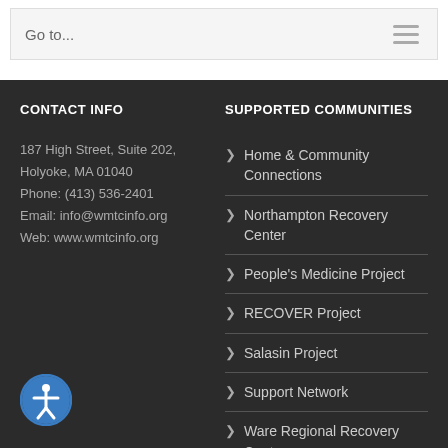Go to...
CONTACT INFO
187 High Street, Suite 202, Holyoke, MA 01040
Phone: (413) 536-2401
Email: info@wmtcinfo.org
Web: www.wmtcinfo.org
SUPPORTED COMMUNITIES
Home & Community Connections
Northampton Recovery Center
People's Medicine Project
RECOVER Project
Salasin Project
Support Network
Ware Regional Recovery Center